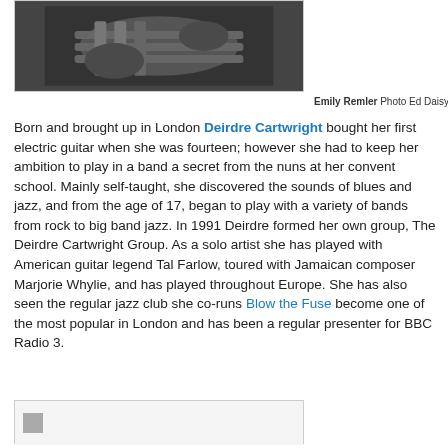[Figure (photo): Black and white photograph of a guitarist playing electric guitar, closely cropped showing hands on the fretboard]
Emily Remler Photo Ed Daisy
Born and brought up in London Deirdre Cartwright bought her first electric guitar when she was fourteen; however she had to keep her ambition to play in a band a secret from the nuns at her convent school. Mainly self-taught, she discovered the sounds of blues and jazz, and from the age of 17, began to play with a variety of bands from rock to big band jazz. In 1991 Deirdre formed her own group, The Deirdre Cartwright Group. As a solo artist she has played with American guitar legend Tal Farlow, toured with Jamaican composer Marjorie Whylie, and has played throughout Europe. She has also seen the regular jazz club she co-runs Blow the Fuse become one of the most popular in London and has been a regular presenter for BBC Radio 3.
[Figure (photo): Partially visible photograph at bottom of page, cropped]